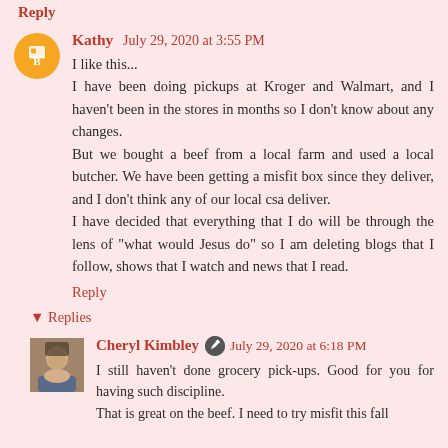Reply
Kathy July 29, 2020 at 3:55 PM
I like this...
I have been doing pickups at Kroger and Walmart, and I haven't been in the stores in months so I don't know about any changes.
But we bought a beef from a local farm and used a local butcher. We have been getting a misfit box since they deliver, and I don't think any of our local csa deliver.
I have decided that everything that I do will be through the lens of "what would Jesus do" so I am deleting blogs that I follow, shows that I watch and news that I read.
Reply
Replies
Cheryl Kimbley July 29, 2020 at 6:18 PM
I still haven't done grocery pick-ups. Good for you for having such discipline.
That is great on the beef. I need to try misfit this fall